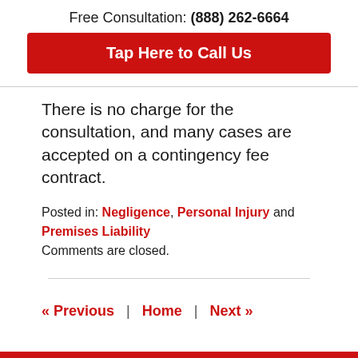Free Consultation: (888) 262-6664
[Figure (other): Red button with text 'Tap Here to Call Us']
There is no charge for the consultation, and many cases are accepted on a contingency fee contract.
Posted in: Negligence, Personal Injury and Premises Liability
Comments are closed.
« Previous  |  Home  |  Next »